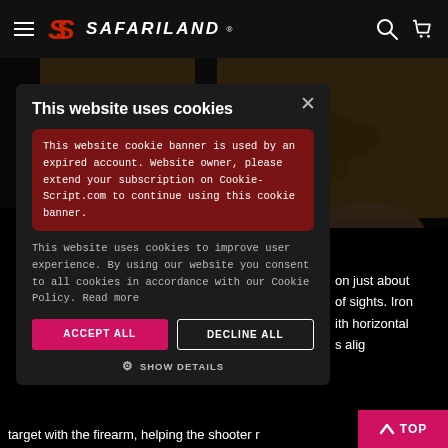SAFARILAND
[Figure (screenshot): Safariland website screenshot showing cookie consent modal overlay on top of a product page with rocky outdoor background and gun sight image]
This website uses cookies
This website cookie banner is used by an expired account. Website owner, please extend your subscription on Cookie-Script.com to continue using this cookie banner.
This website uses cookies to improve user experience. By using our website you consent to all cookies in accordance with our Cookie Policy. Read more
ACCEPT ALL
DECLINE ALL
SHOW DETAILS
on just about of sights. Iron ith horizontal s alig
target with the firearm, helping the shooter r